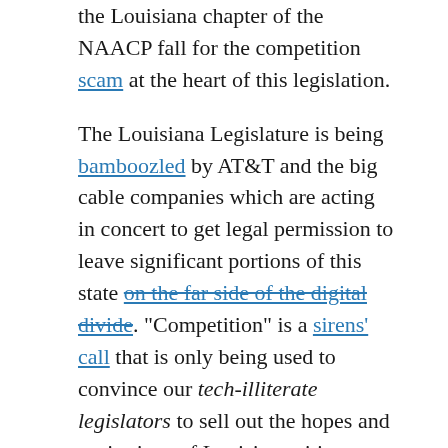the Louisiana chapter of the NAACP fall for the competition scam at the heart of this legislation.
The Louisiana Legislature is being bamboozled by AT&T and the big cable companies which are acting in concert to get legal permission to leave significant portions of this state on the far side of the digital divide. "Competition" is a sirens' call that is only being used to convince our tech-illiterate legislators to sell out the hopes and aspirations of Louisiana citizens and communities to become full participants in the network-dependent global economy.
This legislation serves no other interests but